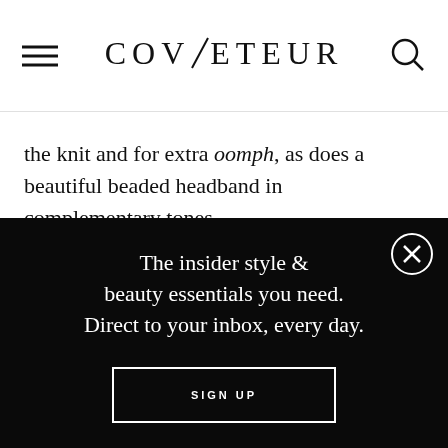COVETEUR
the knit and for extra oomph, as does a beautiful beaded headband in complementary tones.
[Figure (screenshot): Email signup modal overlay with black background containing headline text, email input field, and SIGN UP button]
The insider style & beauty essentials you need. Direct to your inbox, every day.
EMAIL@EXAMPLE.COM
SIGN UP